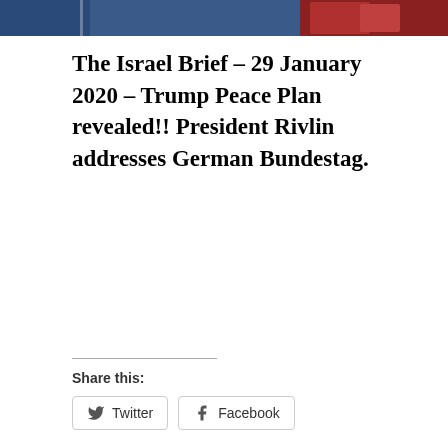[Figure (photo): Partial photo strip at top of page showing people, blue and red colors]
The Israel Brief – 29 January 2020 – Trump Peace Plan revealed!! President Rivlin addresses German Bundestag.
Share this:
Twitter  Facebook